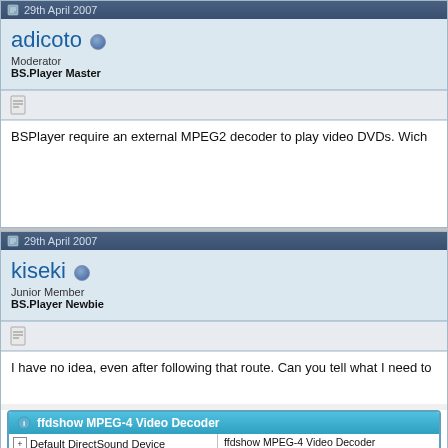29th April 2007
adicoto — Moderator, BS.Player Master
BSPlayer require an external MPEG2 decoder to play video DVDs. Wich
29th April 2007
kiseki — Junior Member, BS.Player Newbie
I have no idea, even after following that route. Can you tell what I need to
[Figure (screenshot): ffdshow MPEG-4 Video Decoder window showing a tree with Default DirectSound Device, MatrixMixer, and ffdshow MPEG-4 Video Decoder (selected), with details on the right: ffdshow MPEG-4 Video Decoder, Location: C:\Program Files\Matroska Pack\ffd..., ffdshow.ax, Size: 1448 bytes]